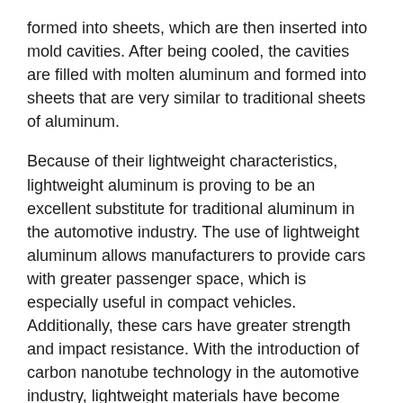formed into sheets, which are then inserted into mold cavities. After being cooled, the cavities are filled with molten aluminum and formed into sheets that are very similar to traditional sheets of aluminum.
Because of their lightweight characteristics, lightweight aluminum is proving to be an excellent substitute for traditional aluminum in the automotive industry. The use of lightweight aluminum allows manufacturers to provide cars with greater passenger space, which is especially useful in compact vehicles. Additionally, these cars have greater strength and impact resistance. With the introduction of carbon nanotube technology in the automotive industry, lightweight materials have become extremely strong and durable. Because they are stronger and less dentable, they are ideal for protecting the interior of vehicles.